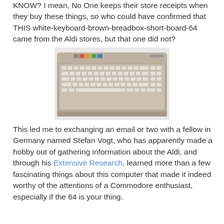KNOW? I mean, No One keeps their store receipts when they buy these things, so who could have confirmed that THIS white-keyboard-brown-breadbox-short-board-64 came from the Aldi stores, but that one did not?
[Figure (photo): A Commodore 64 computer (breadbox style) with white/cream keyboard, viewed from above at a slight angle. The computer has beige/tan color casing with multiple rows of keys and a space bar.]
This led me to exchanging an email or two with a fellow in Germany named Stefan Vogt, who has apparently made a hobby out of gathering information about the Aldi, and through his Extensive Research, learned more than a few fascinating things about this computer that made it indeed worthy of the attentions of a Commodore enthusiast, especially if the 64 is your thing.